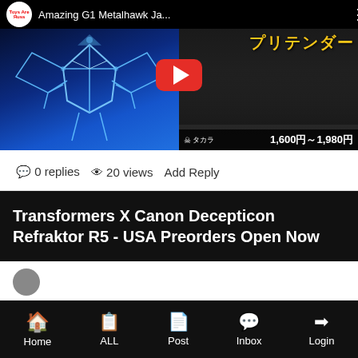[Figure (screenshot): YouTube video thumbnail showing 'Amazing G1 Metalhawk Ja...' with Toys Are Russ channel icon, neon blue robot on left half, Japanese anime character with yellow katakana text on right half, red play button overlay, Takara logo and price 1,600円～1,980円 at bottom right]
0 replies  20 views  Add Reply
Transformers X Canon Decepticon Refraktor R5 - USA Preorders Open Now
Home  ALL  Post  Inbox  Login